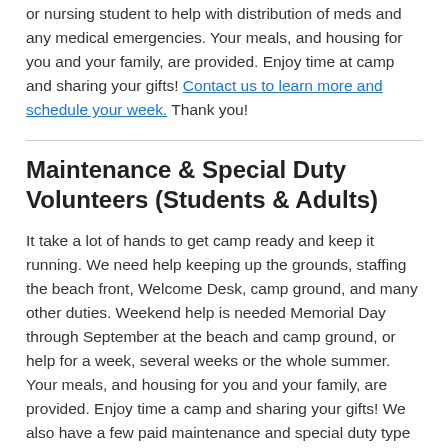Each week of summer camp, we need a volunteer nurse or nursing student to help with distribution of meds and any medical emergencies. Your meals, and housing for you and your family, are provided. Enjoy time at camp and sharing your gifts! Contact us to learn more and schedule your week. Thank you!
Maintenance & Special Duty Volunteers (Students & Adults)
It take a lot of hands to get camp ready and keep it running. We need help keeping up the grounds, staffing the beach front, Welcome Desk, camp ground, and many other duties. Weekend help is needed Memorial Day through September at the beach and camp ground, or help for a week, several weeks or the whole summer. Your meals, and housing for you and your family, are provided. Enjoy time a camp and sharing your gifts! We also have a few paid maintenance and special duty type